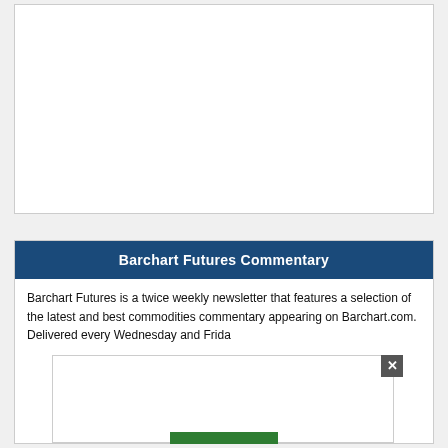[Figure (other): White empty advertisement or content box at top of page]
Barchart Futures Commentary
Barchart Futures is a twice weekly newsletter that features a selection of the latest and best commodities commentary appearing on Barchart.com. Delivered every Wednesday and Friday to your email.
[Figure (other): Modal/popup overlay box with close button (x) partially covering the commentary text, with a green button at the bottom]